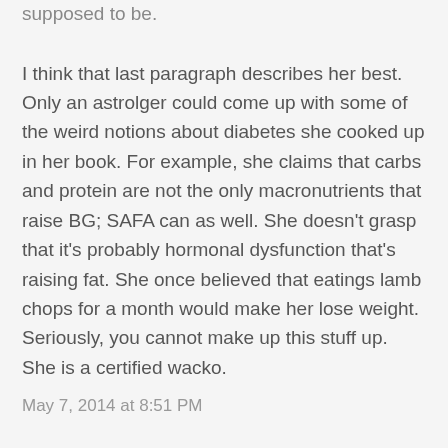supposed to be.
I think that last paragraph describes her best. Only an astrolger could come up with some of the weird notions about diabetes she cooked up in her book. For example, she claims that carbs and protein are not the only macronutrients that raise BG; SAFA can as well. She doesn't grasp that it's probably hormonal dysfunction that's raising fat. She once believed that eatings lamb chops for a month would make her lose weight. Seriously, you cannot make up this stuff up. She is a certified wacko.
May 7, 2014 at 8:51 PM
Sanjeev Sharma said...
I've noticed her around but read nothing that drew me to learn more